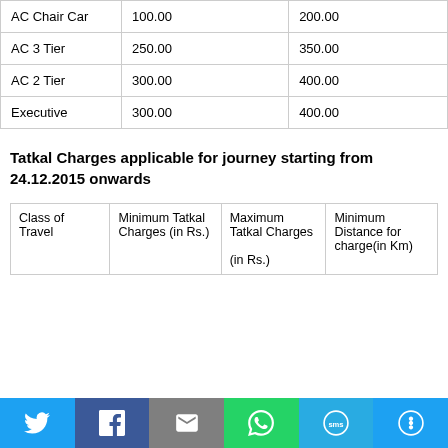| Class of Travel | Minimum Tatkal Charges (in Rs.) | Maximum Tatkal Charges (in Rs.) |
| --- | --- | --- |
| AC Chair Car | 100.00 | 200.00 |
| AC 3 Tier | 250.00 | 350.00 |
| AC 2 Tier | 300.00 | 400.00 |
| Executive | 300.00 | 400.00 |
Tatkal Charges applicable for journey starting from 24.12.2015 onwards
| Class of Travel | Minimum Tatkal Charges (in Rs.) | Maximum Tatkal Charges (in Rs.) | Minimum Distance for charge(in Km) |
| --- | --- | --- | --- |